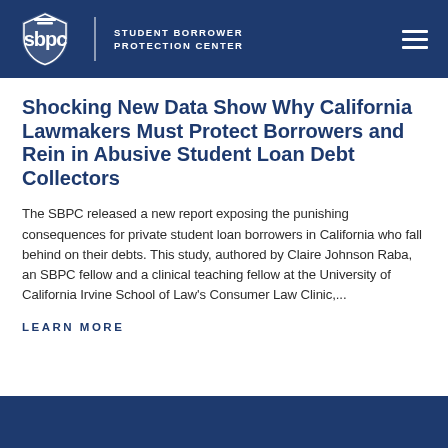STUDENT BORROWER PROTECTION CENTER
Shocking New Data Show Why California Lawmakers Must Protect Borrowers and Rein in Abusive Student Loan Debt Collectors
The SBPC released a new report exposing the punishing consequences for private student loan borrowers in California who fall behind on their debts. This study, authored by Claire Johnson Raba, an SBPC fellow and a clinical teaching fellow at the University of California Irvine School of Law's Consumer Law Clinic,...
LEARN MORE